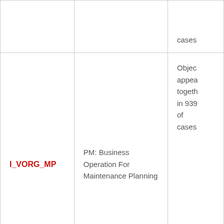| Object Name | Description | Notes |
| --- | --- | --- |
|  |  | cases |
| I_VORG_MP | PM: Business Operation For Maintenance Planning | Object appears together in 939 of cases |
| I_WCUSE | WCM: Use Of WCM Object | Object appears together in 939 of cases |
|  |  | Object appears |